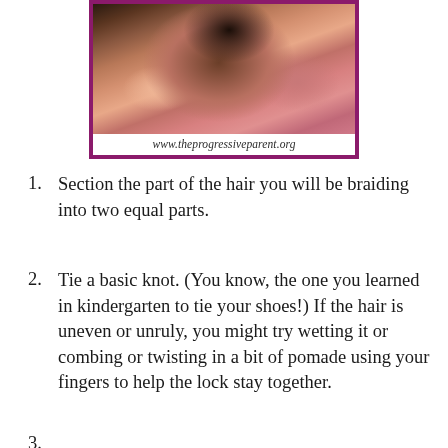[Figure (photo): Back of a young girl's head with hair braided up, wearing a pink top. Photo has a purple/magenta border. URL www.theprogressiveparent.org shown at bottom of image.]
Section the part of the hair you will be braiding into two equal parts.
Tie a basic knot. (You know, the one you learned in kindergarten to tie your shoes!) If the hair is uneven or unruly, you might try wetting it or combing or twisting in a bit of pomade using your fingers to help the lock stay together.
3. (partial, cut off at bottom of page)